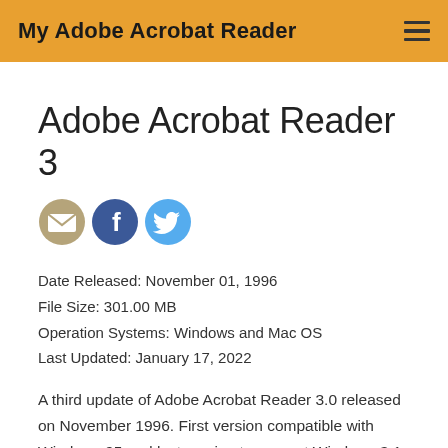My Adobe Acrobat Reader
Adobe Acrobat Reader 3
[Figure (illustration): Three social sharing icons: email (tan/gold circle), Facebook (blue circle with f logo), Twitter (light blue circle with bird logo)]
Date Released: November 01, 1996
File Size: 301.00 MB
Operation Systems: Windows and Mac OS
Last Updated: January 17, 2022
A third update of Adobe Acrobat Reader 3.0 released on November 1996. First version compatible with Windows 95 and last version to support Windows 3.1. In addition, this is the last version of Acrobat Reader compatible with Mac...